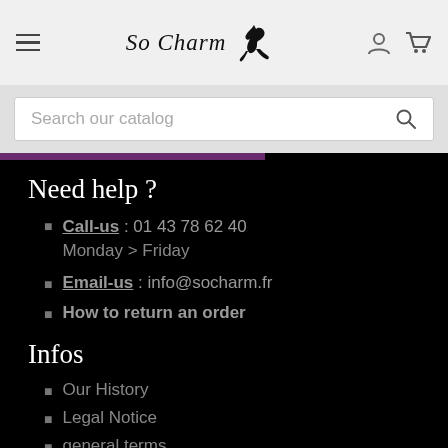So Charm — navigation header with hamburger menu, logo, user and cart icons
Search our catalog
Need help ?
Call-us : 01 43 78 62 40 Monday > Friday
Email-us : info@socharm.fr
How to return an order
Infos
Our History
Legal Notice
general terms
Become a reseller of the brand
Categories